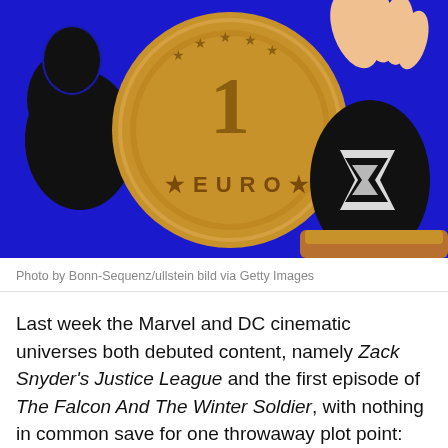[Figure (photo): Close-up photo of a 1 Euro coin being held by a black figurine/toy character, set against a bright blue background. The coin shows '1 EURO' text and the figurine appears to be wearing black and white costume.]
Photo by Bonn-Sequenz/ullstein bild via Getty Images
Last week the Marvel and DC cinematic universes both debuted content, namely Zack Snyder's Justice League and the first episode of The Falcon And The Winter Soldier, with nothing in common save for one throwaway plot point: You don't get paid for being a superhero.